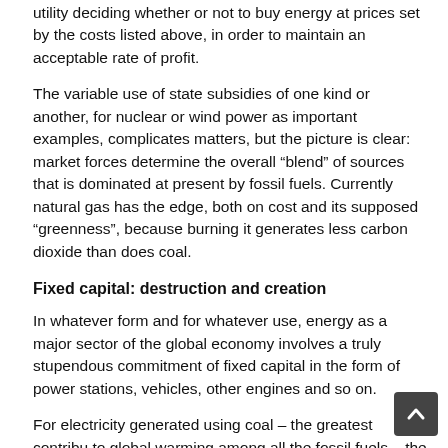utility deciding whether or not to buy energy at prices set by the costs listed above, in order to maintain an acceptable rate of profit.
The variable use of state subsidies of one kind or another, for nuclear or wind power as important examples, complicates matters, but the picture is clear: market forces determine the overall “blend” of sources that is dominated at present by fossil fuels. Currently natural gas has the edge, both on cost and its supposed “greenness”, because burning it generates less carbon dioxide than does coal.
Fixed capital: destruction and creation
In whatever form and for whatever use, energy as a major sector of the global economy involves a truly stupendous commitment of fixed capital in the form of power stations, vehicles, other engines and so on.
For electricity generated using coal – the greatest contribu to global warming among all the fossil fuels – the capital c